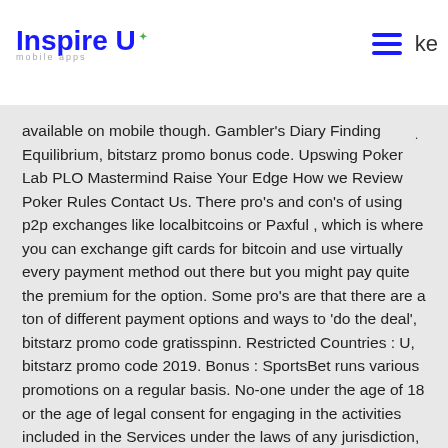Inspire U mobile apps
available on mobile though. Gambler's Diary Finding Equilibrium, bitstarz promo bonus code. Upswing Poker Lab PLO Mastermind Raise Your Edge How we Review Poker Rules Contact Us. There pro's and con's of using p2p exchanges like localbitcoins or Paxful , which is where you can exchange gift cards for bitcoin and use virtually every payment method out there but you might pay quite the premium for the option. Some pro's are that there are a ton of different payment options and ways to 'do the deal', bitstarz promo code gratisspinn. Restricted Countries : U, bitstarz promo code 2019. Bonus : SportsBet runs various promotions on a regular basis. No-one under the age of 18 or the age of legal consent for engaging in the activities included in the Services under the laws of any jurisdiction, whichever